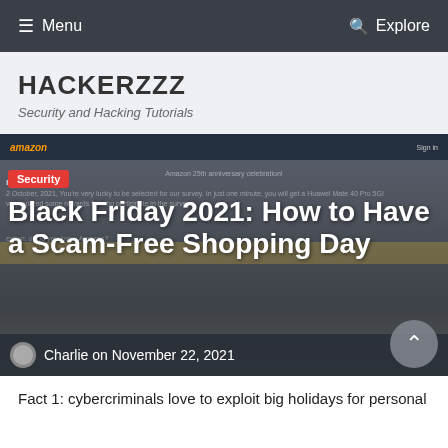≡ Menu   Q Explore
HACKERZZZ
Security and Hacking Tutorials
[Figure (screenshot): Screenshot of an Amazon scam page with a 'Congratulations!' message, overlaid with article title and author info]
Black Friday 2021: How to Have a Scam-Free Shopping Day
Charlie on November 22, 2021
Fact 1: cybercriminals love to exploit big holidays for personal